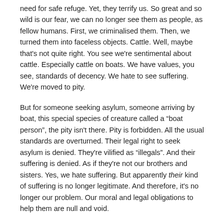need for safe refuge. Yet, they terrify us. So great and so wild is our fear, we can no longer see them as people, as fellow humans. First, we criminalised them. Then, we turned them into faceless objects. Cattle. Well, maybe that's not quite right. You see we're sentimental about cattle. Especially cattle on boats. We have values, you see, standards of decency. We hate to see suffering. We're moved to pity.
But for someone seeking asylum, someone arriving by boat, this special species of creature called a "boat person", the pity isn't there. Pity is forbidden. All the usual standards are overturned. Their legal right to seek asylum is denied. They're vilified as "illegals". And their suffering is denied. As if they're not our brothers and sisters. Yes, we hate suffering. But apparently their kind of suffering is no longer legitimate. And therefore, it's no longer our problem. Our moral and legal obligations to help them are null and void.
Since August 2001, Australians have gradually let themselves be convinced that asylum seekers have brought their suffering and